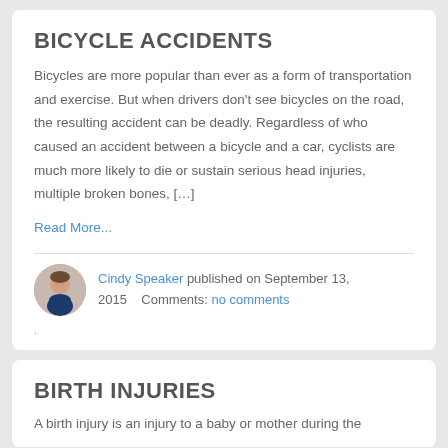BICYCLE ACCIDENTS
Bicycles are more popular than ever as a form of transportation and exercise. But when drivers don't see bicycles on the road, the resulting accident can be deadly. Regardless of who caused an accident between a bicycle and a car, cyclists are much more likely to die or sustain serious head injuries, multiple broken bones, […]
Read More...
Cindy Speaker published on September 13, 2015    Comments: no comments
.
BIRTH INJURIES
A birth injury is an injury to a baby or mother during the